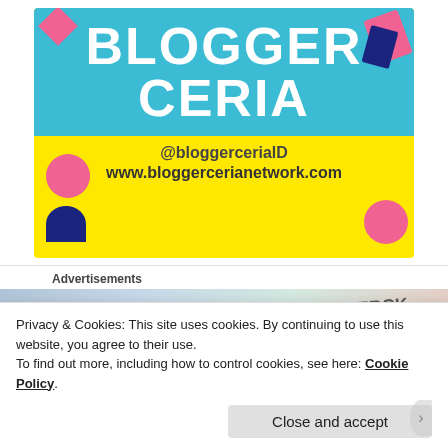[Figure (illustration): Blogger Ceria promotional banner with yellow background, blue header box containing white bold text 'BLOGGER CERIA', with colorful geometric shapes. Below the blue box on yellow background: '@bloggercerialD' and 'www.bloggercerianetwork.com']
Advertisements
[Figure (photo): Partially visible advertisement banner showing Merck branding and product imagery]
Privacy & Cookies: This site uses cookies. By continuing to use this website, you agree to their use.
To find out more, including how to control cookies, see here: Cookie Policy.